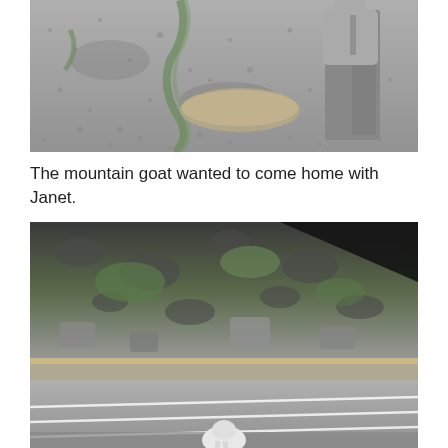[Figure (photo): A person standing on a gravel/rocky mountain path or parking area, seen from behind wearing gray pants and a hoodie. The ground is covered in small gray gravel rocks with some green plants/grass growing between them. A large flat rock is visible in the foreground.]
The mountain goat wanted to come home with Janet.
[Figure (photo): A photo taken from inside a car looking out over a mountain parking lot and rocky cliff face. A white mountain goat is visible in the lower center of the frame walking through the parking lot. The background shows a steep rocky cliff with patches of green grass. The image appears to be taken at an angle through the car window.]